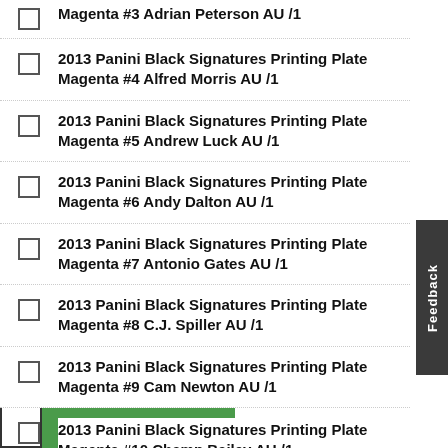2013 Panini Black Signatures Printing Plate Magenta #3 Adrian Peterson AU /1
2013 Panini Black Signatures Printing Plate Magenta #4 Alfred Morris AU /1
2013 Panini Black Signatures Printing Plate Magenta #5 Andrew Luck AU /1
2013 Panini Black Signatures Printing Plate Magenta #6 Andy Dalton AU /1
2013 Panini Black Signatures Printing Plate Magenta #7 Antonio Gates AU /1
2013 Panini Black Signatures Printing Plate Magenta #8 C.J. Spiller AU /1
2013 Panini Black Signatures Printing Plate Magenta #9 Cam Newton AU /1
2013 Panini Black Signatures Printing Plate Magenta #10 Champ Bailey AU /1
2013 Panini Black Signatures Printing Plate